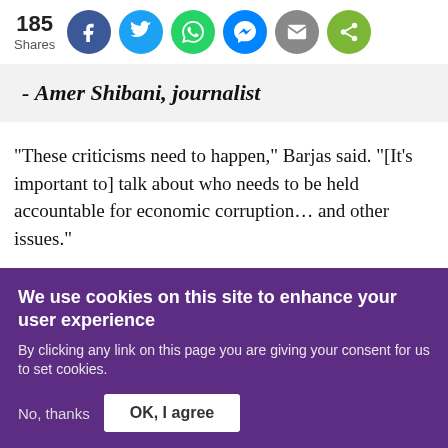[Figure (infographic): Social share bar showing 185 Shares with buttons for Facebook, Twitter, WhatsApp, Messenger, Email, and Share]
- Amer Shibani, journalist
“These criticisms need to happen,” Barjas said. “[It’s important to] talk about who needs to be held accountable for economic corruption… and other issues.”
While many of the cases are particular to activists and
We use cookies on this site to enhance your user experience
By clicking any link on this page you are giving your consent for us to set cookies.
No, thanks
OK, I agree